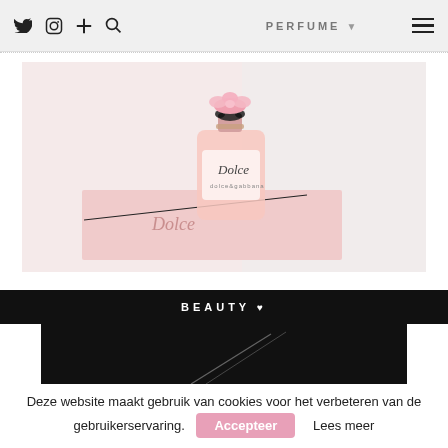PERFUME ♥
[Figure (photo): Dolce & Gabbana 'Dolce' perfume bottle with pink rose cap and black bow, sitting on a pink gift box with script lettering, on a white background.]
BEAUTY ♥
[Figure (photo): Dark image with diagonal white lines, partially visible beauty product photography.]
Deze website maakt gebruik van cookies voor het verbeteren van de gebruikerservaring.
Accepteer   Lees meer